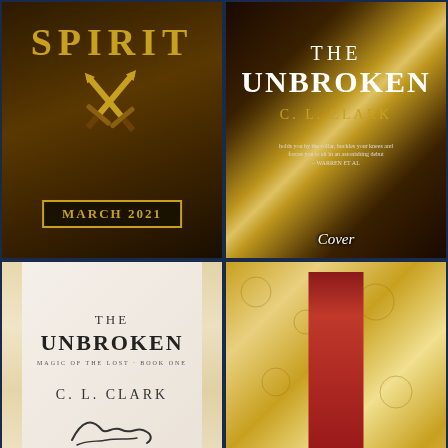[Figure (photo): Book club announcement image showing crossed swords logo with text SPIRIT and MARCH 2021 badge on dark background]
[Figure (photo): Cover of The Unbroken by C.L. Clark on decorative golden floral background with label Cover]
[Figure (photo): Signed title page of The Unbroken by C.L. Clark showing author signature with label Signed]
[Figure (photo): Book spine showing red sprayed edges against golden floral background with label Red Sprayed Edges]
[Figure (photo): Partial view of golden floral background]
[Figure (photo): Partial view of book or packaging]